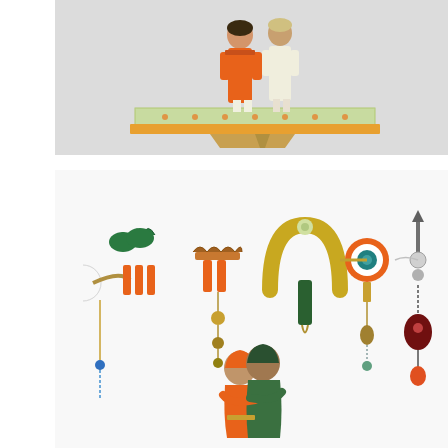[Figure (illustration): Top illustration showing two figures (a woman in orange dress and a man in white) standing on a decorative patterned platform/carpet with ornate border, on a light gray background.]
[Figure (illustration): Bottom illustration on white background showing traditional Indian decorative hair ornaments and jewelry items arranged in a row (including items with orange, green, gold, and teal colors with dangling beads), and below them two embracing figures in traditional Indian dress (orange and green clothing).]